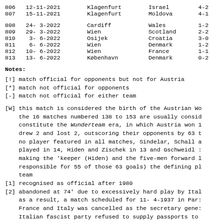| # | Date | Venue | Opponent | Score |
| --- | --- | --- | --- | --- |
| 806 | 12-11-2021 | Klagenfurt | Israel | 4-2 |
| 807 | 15-11-2021 | Klagenfurt | Moldova | 4-1 |
| 808 | 24- 3-2022 | Cardiff | Wales | 1-2 |
| 809 | 29- 3-2022 | Wien | Scotland | 2-2 |
| 810 |  3- 6-2022 | Osijek | Croatia | 3-0 |
| 811 |  6- 6-2022 | Wien | Denmark | 1-2 |
| 812 | 10- 6-2022 | Wien | France | 1-1 |
| 813 | 13- 6-2022 | København | Denmark | 0-2 |
Notes:
[!] match official for opponents but not for Austria
[*] match not official for opponents
[-] match not official for either team
[W] this match is considered the birth of the Austrian Wo the 16 matches numbered 138 to 153 are usually consid constitute the Wunderteam era, in which Austria won 1 drew 2 and lost 2, outscoring their opponents by 63 t no player featured in all matches, Sindelar, Schall a played in 14, Hiden and Zischek in 13 and Gschweidl : making the 'keeper (Hiden) and the five-men forward l responsible for 55 of those 63 goals) the defining pl team
[1] recognised as official after 1980
[2] abandoned at 74' due to excessively hard play by Ital as a result, a match scheduled for 11- 4-1937 in Par: France and Italy was cancelled as the secretary gene: Italian fascist party refused to supply passports to